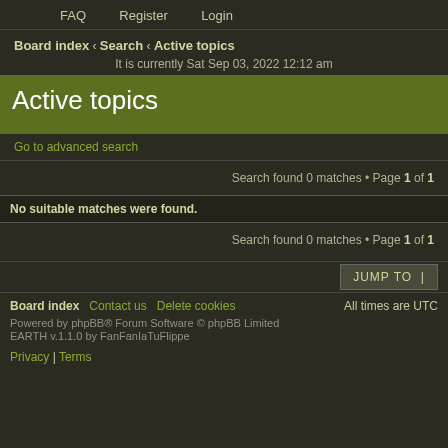FAQ   Register   Login
Board index ‹ Search ‹ Active topics
It is currently Sat Sep 03, 2022 12:12 am
Active topics
Go to advanced search
Search found 0 matches • Page 1 of 1
No suitable matches were found.
Search found 0 matches • Page 1 of 1
JUMP TO
Board index   Contact us   Delete cookies   All times are UTC
Powered by phpBB® Forum Software © phpBB Limited
EARTH v.1.1.0 by FanFanIaTuFlippe
Privacy | Terms